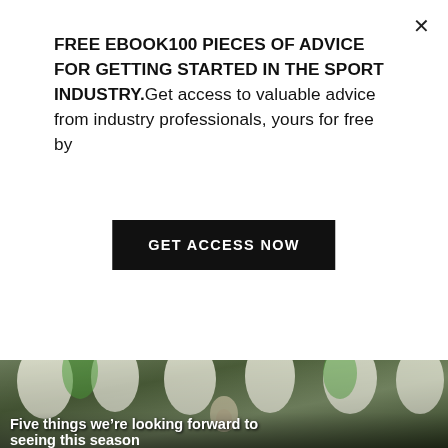FREE EBOOK100 PIECES OF ADVICE FOR GETTING STARTED IN THE SPORT INDUSTRY.Get access to valuable advice from industry professionals, yours for free by
GET ACCESS NOW
[Figure (photo): Women's football/soccer team celebrating with a trophy, players wearing white kits with medals, raising fists and cheering on a pitch]
Five things we're looking forward to seeing this season